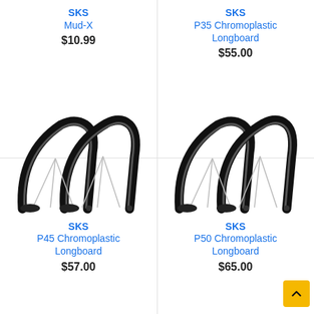SKS
Mud-X
$10.99
SKS
P35 Chromoplastic Longboard
$55.00
[Figure (photo): SKS P45 Chromoplastic Longboard bicycle fenders, black, set of two arched fenders with stay wires]
SKS
P45 Chromoplastic Longboard
$57.00
[Figure (photo): SKS P50 Chromoplastic Longboard bicycle fenders, black, set of two arched fenders with stay wires]
SKS
P50 Chromoplastic Longboard
$65.00